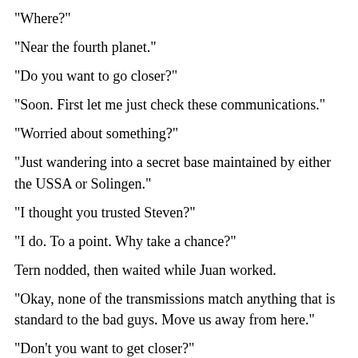"Where?"
"Near the fourth planet."
"Do you want to go closer?"
"Soon. First let me just check these communications."
"Worried about something?"
"Just wandering into a secret base maintained by either the USSA or Solingen."
"I thought you trusted Steven?"
"I do. To a point. Why take a chance?"
Tern nodded, then waited while Juan worked.
"Okay, none of the transmissions match anything that is standard to the bad guys. Move us away from here."
"Don't you want to get closer?"
"Not until I've knocked. Steven told me that they seem to be pretty